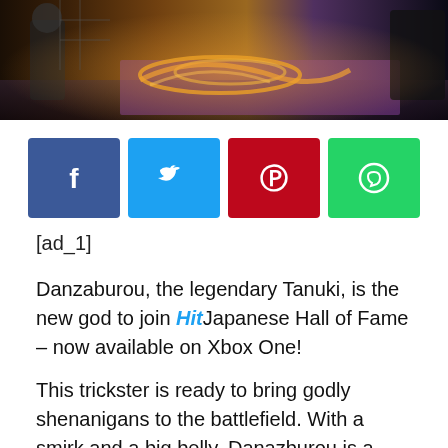[Figure (illustration): Hero banner image showing a video game scene with characters fighting, featuring glowing orange/gold effects on a purple background]
[Figure (infographic): Social sharing buttons row: Facebook (blue), Twitter (cyan), Pinterest (red), WhatsApp (green), each with icon]
[ad_1]
Danzaburou, the legendary Tanuki, is the new god to join HitJapanese Hall of Fame – now available on Xbox One!
This trickster is ready to bring godly shenanigans to the battlefield. With a smirk and a big belly, Danazburou is a cheerful bake-danuki, supernatural and legendary tanuki, who wears tricks up his sleeve and a rocket launcher in his back pocket. The team wanted to create a fun creature with a devious and wise guy personality. Danzaburou plays the comic